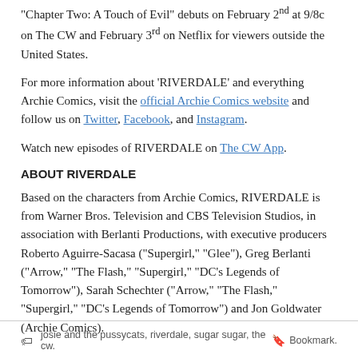“Chapter Two: A Touch of Evil” debuts on February 2nd at 9/8c on The CW and February 3rd on Netflix for viewers outside the United States.
For more information about ‘RIVERDALE’ and everything Archie Comics, visit the official Archie Comics website and follow us on Twitter, Facebook, and Instagram.
Watch new episodes of RIVERDALE on The CW App.
ABOUT RIVERDALE
Based on the characters from Archie Comics, RIVERDALE is from Warner Bros. Television and CBS Television Studios, in association with Berlanti Productions, with executive producers Roberto Aguirre-Sacasa (“Supergirl,” “Glee”), Greg Berlanti (“Arrow,” “The Flash,” “Supergirl,” “DC’s Legends of Tomorrow”), Sarah Schechter (“Arrow,” “The Flash,” “Supergirl,” “DC’s Legends of Tomorrow”) and Jon Goldwater (Archie Comics).
josie and the pussycats, riverdale, sugar sugar, the cw. Bookmark.